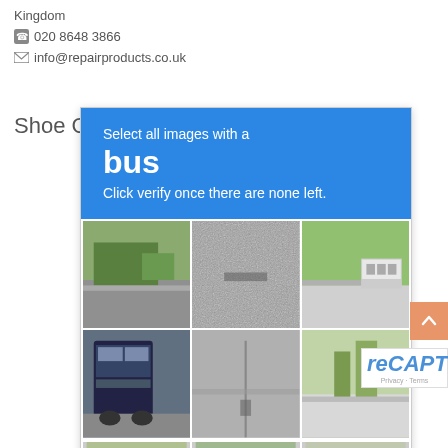Kingdom
📞 020 8648 3866
✉ info@repairproducts.co.uk
Shoe G
[Figure (screenshot): Google reCAPTCHA challenge overlay asking user to select all images with a bus. A 3x3 grid of street-view images is shown below the blue instruction panel, with a partial 3-image row at the bottom. Some images appear to show buses or road scenes.]